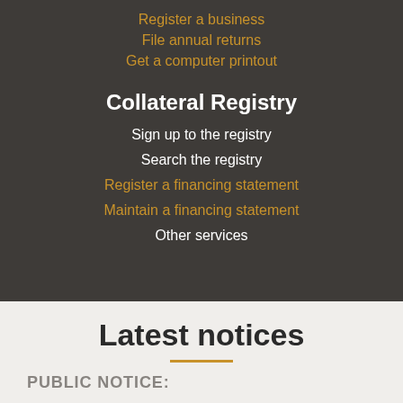Register a business
File annual returns
Get a computer printout
Collateral Registry
Sign up to the registry
Search the registry
Register a financing statement
Maintain a financing statement
Other services
Latest notices
PUBLIC NOTICE: